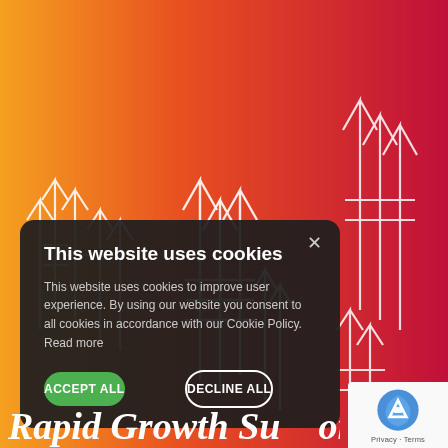[Figure (illustration): Orange-to-red gradient background with white hand-drawn sketchy upward-pointing arrows scattered across the image, suggesting rapid growth.]
This website uses cookies
This website uses cookies to improve user experience. By using our website you consent to all cookies in accordance with our Cookie Policy. Read more
ACCEPT ALL
DECLINE ALL
Rapid Growth Support
[Figure (logo): Google reCAPTCHA badge with logo and Privacy · Terms text]